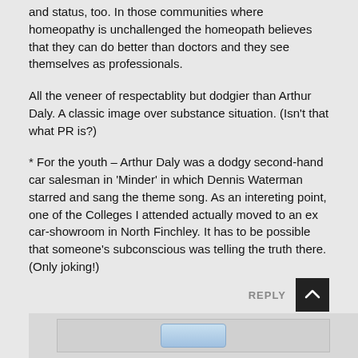and status, too. In those communities where homeopathy is unchallenged the homeopath believes that they can do better than doctors and they see themselves as professionals.
All the veneer of respectablity but dodgier than Arthur Daly. A classic image over substance situation. (Isn't that what PR is?)
* For the youth – Arthur Daly was a dodgy second-hand car salesman in 'Minder' in which Dennis Waterman starred and sang the theme song. As an intereting point, one of the Colleges I attended actually moved to an ex car-showroom in North Finchley. It has to be possible that someone's subconscious was telling the truth there. (Only joking!)